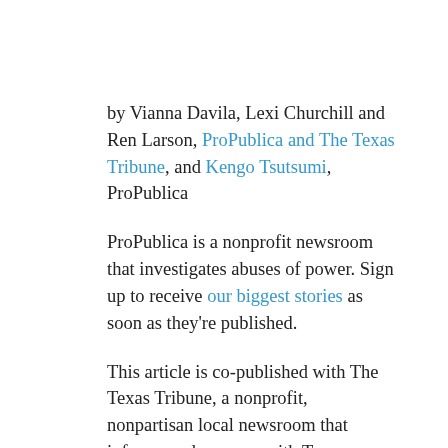by Vianna Davila, Lexi Churchill and Ren Larson, ProPublica and The Texas Tribune, and Kengo Tsutsumi, ProPublica
ProPublica is a nonprofit newsroom that investigates abuses of power. Sign up to receive our biggest stories as soon as they're published.
This article is co-published with The Texas Tribune, a nonprofit, nonpartisan local newsroom that informs and engages with Texans. Sign up for The Brief Weekly to get up to speed on their essential coverage of Texas issues.
If you or someone you know has been sexually assaulted, you can receive confidential help by calling the Rape, Abuse & Incest National Network's 24/7 toll-free support line at 800-656-4673 or visiting